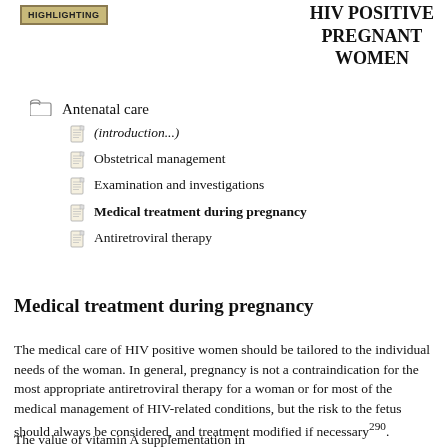HIGHLIGHTING
HIV POSITIVE PREGNANT WOMEN
Antenatal care
(introduction...)
Obstetrical management
Examination and investigations
Medical treatment during pregnancy
Antiretroviral therapy
Medical treatment during pregnancy
The medical care of HIV positive women should be tailored to the individual needs of the woman. In general, pregnancy is not a contraindication for the most appropriate antiretroviral therapy for a woman or for most of the medical management of HIV-related conditions, but the risk to the fetus should always be considered, and treatment modified if necessary290.
The value of vitamin A supplementation in